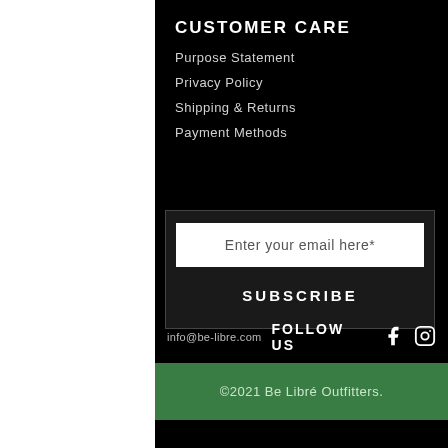CUSTOMER CARE
Purpose Statement
Privacy Policy
Shipping & Returns
Payment Methods
Enter your email here*
SUBSCRIBE
info@be-libre.com
FOLLOW US
©2021 Be Libré Outfitters.